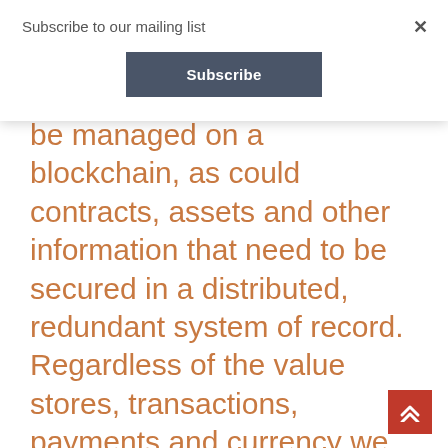Subscribe to our mailing list
be managed on a blockchain, as could contracts, assets and other information that need to be secured in a distributed, redundant system of record. Regardless of the value stores, transactions, payments and currency we will have in the future, what is certain is that the banking system won’t be based on current bank regulations, the product structures we are familiar with, the physical artifacts we currently carry and the major banks